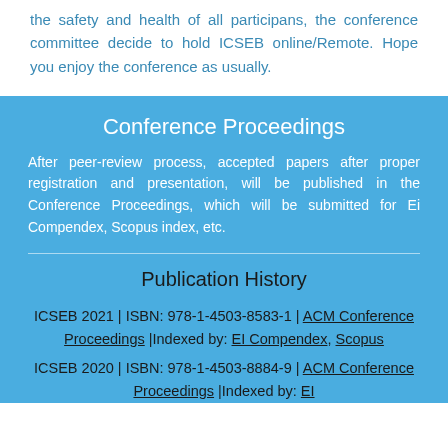the safety and health of all participans, the conference committee decide to hold ICSEB online/Remote. Hope you enjoy the conference as usually.
Conference Proceedings
After peer-review process, accepted papers after proper registration and presentation, will be published in the Conference Proceedings, which will be submitted for Ei Compendex, Scopus index, etc.
Publication History
ICSEB 2021 | ISBN: 978-1-4503-8583-1 | ACM Conference Proceedings |Indexed by: EI Compendex, Scopus
ICSEB 2020 | ISBN: 978-1-4503-8884-9 | ACM Conference Proceedings |Indexed by: EI